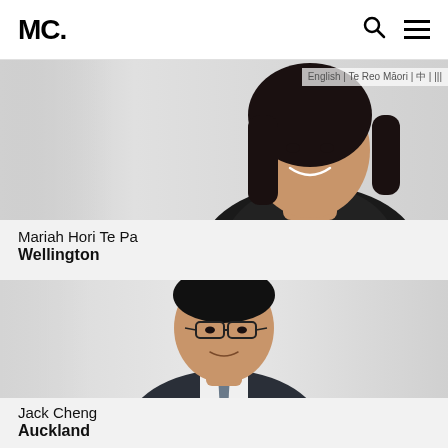MC.
[Figure (photo): Professional headshot of Mariah Hori Te Pa, a woman with long dark hair wearing a dark blazer, smiling, against a light grey background. Language selector visible: English | Te Reo Māori | 中 | ...]
Mariah Hori Te Pa
Wellington
[Figure (photo): Professional headshot of Jack Cheng, an Asian man wearing glasses and a dark suit with a tie, against a light grey background.]
Jack Cheng
Auckland
[Figure (photo): Top portion of a third person's headshot, partially visible at the bottom of the page.]